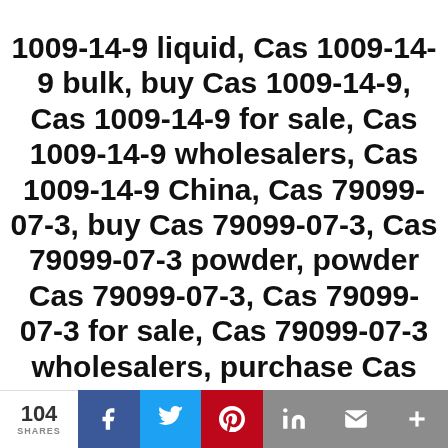1009-14-9 liquid, Cas 1009-14-9 bulk, buy Cas 1009-14-9, Cas 1009-14-9 for sale, Cas 1009-14-9 wholesalers, Cas 1009-14-9 China, Cas 79099-07-3, buy Cas 79099-07-3, Cas 79099-07-3 powder, powder Cas 79099-07-3, Cas 79099-07-3 for sale, Cas 79099-07-3 wholesalers, purchase Cas 79099-07-3, Cas 79099-07-3 safe delivery, Cas 288573-56-8, Cas 288573-56-8 powder, buy Cas 288573-56-8, Cas 288573-56-8 buy, Cas 288573-56-8 for sale, Cas 288573-56-8 vendors, Cas 288573-56-8 China, Ligan/Drol Raw Powder
104 SHARES